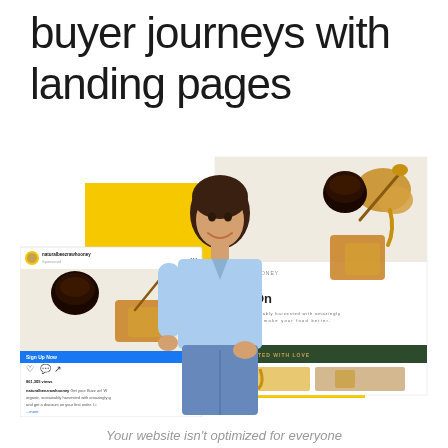buyer journeys with landing pages
[Figure (illustration): Composite illustration showing a smiling woman in light blue shirt and jeans, surrounded by a honey brand landing page mockup, an Instagram ad mockup with honey products, and a yellow background panel. The landing page shows 'BUZZ RAW HONEY - Get Your Buzz On' with honey product images. The Instagram mockup shows a sponsored post for natural buzz raw honey.]
Your website isn't optimized for everyone